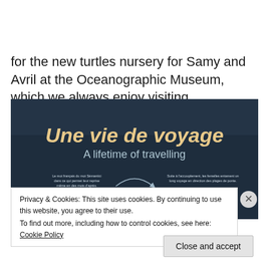for the new turtles nursery for Samy and Avril at the Oceanographic Museum, which we always enjoy visiting
[Figure (photo): Museum display sign reading 'Une vie de voyage / A lifetime of travelling' with illustrations of sea turtles and French/English text about nesting beaches.]
Privacy & Cookies: This site uses cookies. By continuing to use this website, you agree to their use. To find out more, including how to control cookies, see here: Cookie Policy
Close and accept